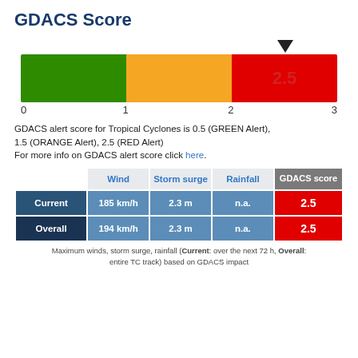GDACS Score
[Figure (infographic): GDACS score color bar from 0 to 3, with green (0-1), orange (1-2), and red (2-3) segments. A downward arrow points at approximately 2.5 on the red segment. The value 2.5 is displayed in faded red text inside the red bar.]
GDACS alert score for Tropical Cyclones is 0.5 (GREEN Alert), 1.5 (ORANGE Alert), 2.5 (RED Alert)
For more info on GDACS alert score click here.
|  | Wind | Storm surge | Rainfall | GDACS score |
| --- | --- | --- | --- | --- |
| Current | 185 km/h | 2.3 m | n.a. | 2.5 |
| Overall | 194 km/h | 2.3 m | n.a. | 2.5 |
Maximum winds, storm surge, rainfall (Current: over the next 72 h, Overall: entire TC track) based on GDACS impact